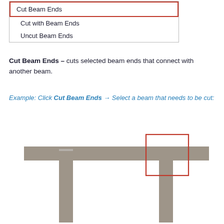[Figure (screenshot): Dropdown menu showing three options: 'Cut Beam Ends' (selected, highlighted with red border), 'Cut with Beam Ends', and 'Uncut Beam Ends']
Cut Beam Ends – cuts selected beam ends that connect with another beam.
Example: Click Cut Beam Ends → Select a beam that needs to be cut:
[Figure (engineering-diagram): Engineering diagram showing a horizontal beam resting on two vertical columns. A red rectangle highlights the connection point between the right column and the beam end.]